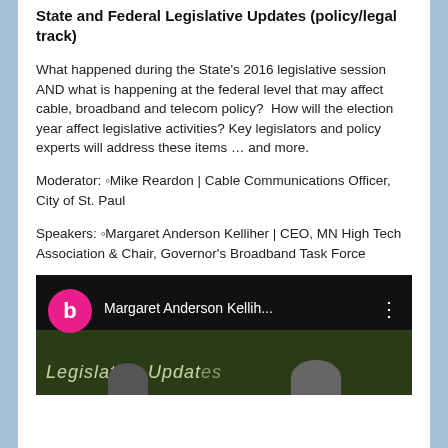State and Federal Legislative Updates (policy/legal track)
What happened during the State's 2016 legislative session AND what is happening at the federal level that may affect cable, broadband and telecom policy?  How will the election year affect legislative activities? Key legislators and policy experts will address these items … and more.
Moderator: ◦Mike Reardon | Cable Communications Officer, City of St. Paul
Speakers: ◦Margaret Anderson Kelliher | CEO, MN High Tech Association & Chair, Governor's Broadband Task Force
[Figure (screenshot): Video thumbnail showing 'Margaret Anderson Kellih...' with a pink circle avatar with letter b, and a 'Legislative Updates' banner in the background with two people visible at the bottom.]